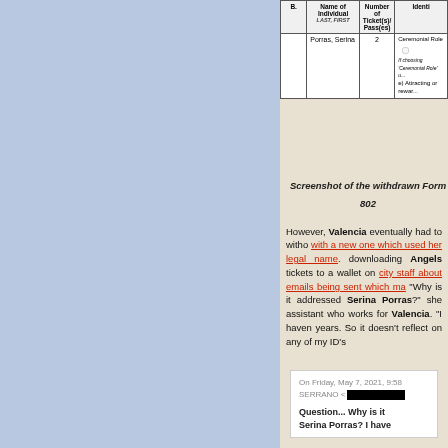| B. | Name of Individual (LAST, FIRST) | Number of Ticket(s)/Pass(es) | Identi... |
| --- | --- | --- | --- |
| Porras, Serina | 2 | Ceremonial Role □
If choosing 'Ceremonial Role' u...
e) Attracting or rewar... |
Screenshot of the withdrawn Form 802
However, Valencia eventually had to witho... with a new one which used her legal name. downloading Angels tickets to a wallet on... city staff about emails being sent which ma... "Why is it addressed Serina Porras?" she... assistant who works for Valencia. "I haven... years. So it doesn't reflect on any of my ID's
[Figure (screenshot): Email screenshot showing: 'On Friday, May 7, 2021, 9:58 SERRANO < [REDACTED]' and 'Question... Why is it Serina Porras? I have']